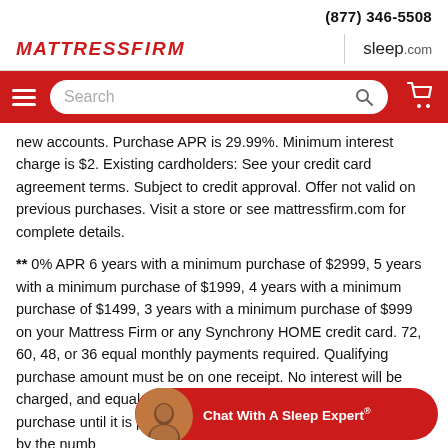(877) 346-5508
[Figure (logo): MattressFIRM logo and sleep.com logo side by side]
[Figure (screenshot): Red navigation bar with hamburger menu, search box, and cart icon]
new accounts. Purchase APR is 29.99%. Minimum interest charge is $2. Existing cardholders: See your credit card agreement terms. Subject to credit approval. Offer not valid on previous purchases. Visit a store or see mattressfirm.com for complete details.
** 0% APR 6 years with a minimum purchase of $2999, 5 years with a minimum purchase of $1999, 4 years with a minimum purchase of $1499, 3 years with a minimum purchase of $999 on your Mattress Firm or any Synchrony HOME credit card. 72, 60, 48, or 36 equal monthly payments required. Qualifying purchase amount must be on one receipt. No interest will be charged, and equal monthly payments are required on promo purchase until it is paid in full. The pa... purchase amount divided by the numb...
[Figure (screenshot): Chat With A Sleep Expert® widget button in red with avatar]